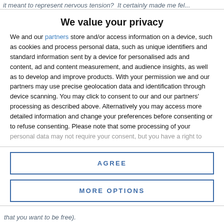it meant to represent nervous tension? It certainly made me fel...
We value your privacy
We and our partners store and/or access information on a device, such as cookies and process personal data, such as unique identifiers and standard information sent by a device for personalised ads and content, ad and content measurement, and audience insights, as well as to develop and improve products. With your permission we and our partners may use precise geolocation data and identification through device scanning. You may click to consent to our and our partners' processing as described above. Alternatively you may access more detailed information and change your preferences before consenting or to refuse consenting. Please note that some processing of your personal data may not require your consent, but you have a right to
AGREE
MORE OPTIONS
that you want to be free).